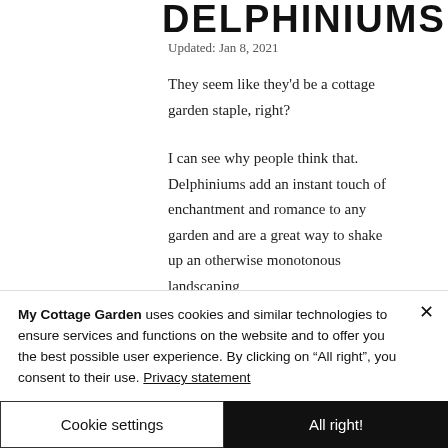DELPHINIUMS
Updated: Jan 8, 2021
They seem like they’d be a cottage garden staple, right?
I can see why people think that. Delphiniums add an instant touch of enchantment and romance to any garden and are a great way to shake up an otherwise monotonous landscaping
My Cottage Garden uses cookies and similar technologies to ensure services and functions on the website and to offer you the best possible user experience. By clicking on “All right”, you consent to their use. Privacy statement
Cookie settings
All right!